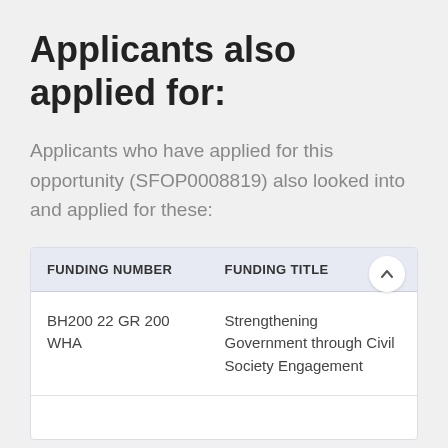Applicants also applied for:
Applicants who have applied for this opportunity (SFOP0008819) also looked into and applied for these:
| FUNDING NUMBER | FUNDING TITLE |
| --- | --- |
| BH200 22 GR 200 WHA | Strengthening Government through Civil Society Engagement |
|  |  |